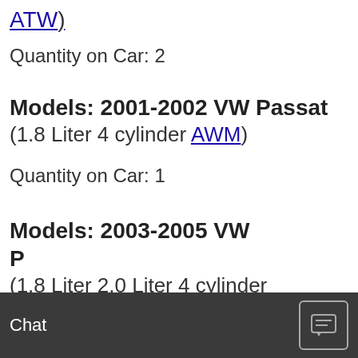ATW)
Quantity on Car: 2
Models: 2001-2002 VW Passat
(1.8 Liter 4 cylinder AWM)
Quantity on Car: 1
Models: 2003-2005 VW Passat
(1.8 Liter 2.0 Liter 4 cylinder